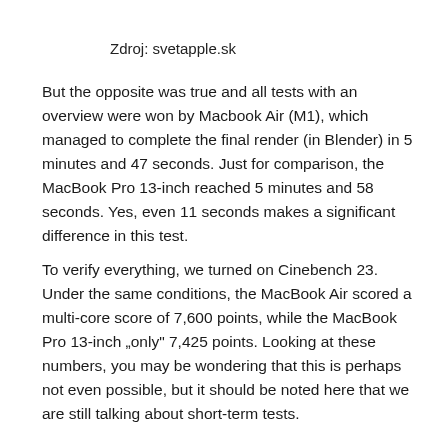Zdroj: svetapple.sk
But the opposite was true and all tests with an overview were won by Macbook Air (M1), which managed to complete the final render (in Blender) in 5 minutes and 47 seconds. Just for comparison, the MacBook Pro 13-inch reached 5 minutes and 58 seconds. Yes, even 11 seconds makes a significant difference in this test.
To verify everything, we turned on Cinebench 23. Under the same conditions, the MacBook Air scored a multi-core score of 7,600 points, while the MacBook Pro 13-inch „only“ 7,425 points. Looking at these numbers, you may be wondering that this is perhaps not even possible, but it should be noted here that we are still talking about short-term tests.